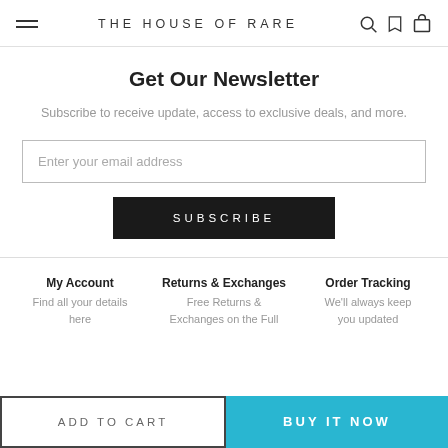THE HOUSE OF RARE
Get Our Newsletter
Subscribe to receive update, access to exclusive deals, and more.
Enter your email address
SUBSCRIBE
My Account
Find all your details here
Returns & Exchanges
Free Returns & Exchanges on the Full
Order Tracking
We'll always keep you updated
ADD TO CART
BUY IT NOW